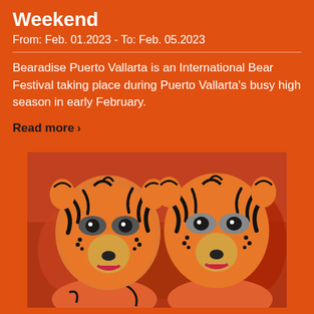Weekend
From: Feb. 01.2023 - To: Feb. 05.2023
Bearadise Puerto Vallarta is an International Bear Festival taking place during Puerto Vallarta's busy high season in early February.
Read more ›
[Figure (photo): Two people with orange and black tiger face paint, posing close together against a blurred crowd background.]